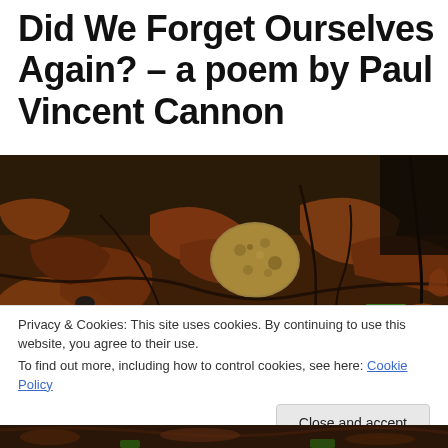Did We Forget Ourselves Again? – a poem by Paul Vincent Cannon
[Figure (photo): Close-up photograph of forest floor with dried brown leaves, dark twigs, a yellowish-tan rough rock or truffle-like object in the center, and small green pine seedlings visible at the bottom and right edges.]
Privacy & Cookies: This site uses cookies. By continuing to use this website, you agree to their use.
To find out more, including how to control cookies, see here: Cookie Policy
[Figure (photo): Partial view of another forest floor photograph at the very bottom of the page.]